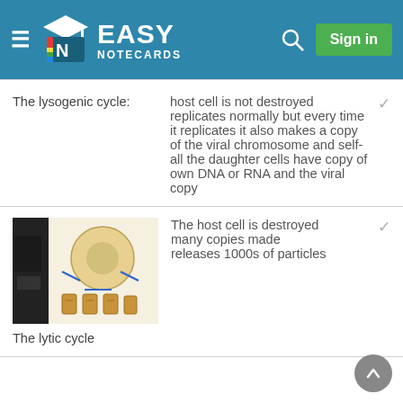Easy Notecards - Sign in
The lysogenic cycle: host cell is not destroyed replicates normally but every time it replicates it also makes a copy of the viral chromosome and self- all the daughter cells have copy of own DNA or RNA and the viral copy
[Figure (photo): Photo of a biology diagram showing the lytic cycle, displayed on a poster or whiteboard with illustrations of cell replication and viral particles]
The lytic cycle
The host cell is destroyed many copies made releases 1000s of particles